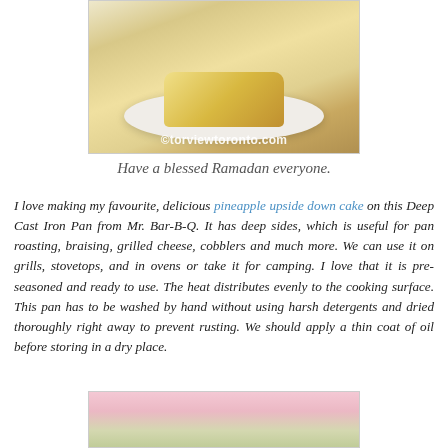[Figure (photo): Photo of pineapple upside down cake on a white plate with watermark ©torviewtoronto.com]
Have a blessed Ramadan everyone.
I love making my favourite, delicious pineapple upside down cake on this Deep Cast Iron Pan from Mr. Bar-B-Q. It has deep sides, which is useful for pan roasting, braising, grilled cheese, cobblers and much more. We can use it on grills, stovetops, and in ovens or take it for camping. I love that it is pre-seasoned and ready to use. The heat distributes evenly to the cooking surface. This pan has to be washed by hand without using harsh detergents and dried thoroughly right away to prevent rusting. We should apply a thin coat of oil before storing in a dry place.
[Figure (photo): Partial photo of pink flower at the bottom of the page]